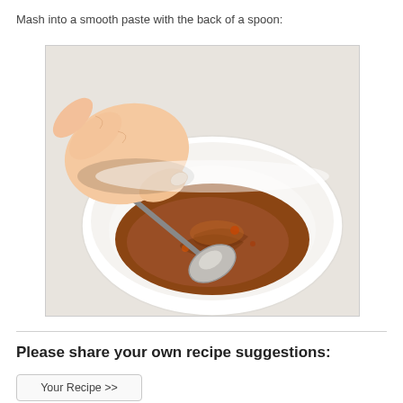Mash into a smooth paste with the back of a spoon:
[Figure (photo): A hand using the back of a metal spoon to mash ingredients into a smooth brown paste in a white bowl, on a light granite countertop.]
Please share your own recipe suggestions:
Your Recipe >>